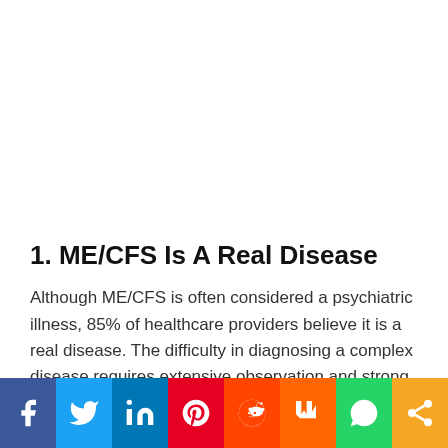1. ME/CFS Is A Real Disease
Although ME/CFS is often considered a psychiatric illness, 85% of healthcare providers believe it is a real disease. The difficulty in diagnosing a complex disease requires extensive observation and strong communication skills. But since patients with ME/CFS often have cognitive symptoms, it's difficult to communicate these needs...